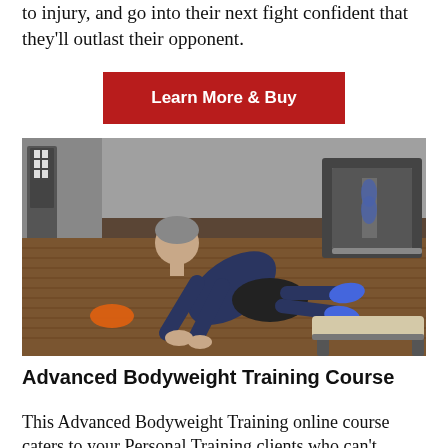to injury, and go into their next fight confident that they'll outlast their opponent.
Learn More & Buy
[Figure (photo): A man in a gym performing a bodyweight exercise, leaning forward with hands on the floor and feet hooked on a bench, gym equipment visible in the background.]
Advanced Bodyweight Training Course
This Advanced Bodyweight Training online course caters to your Personal Training clients who can't